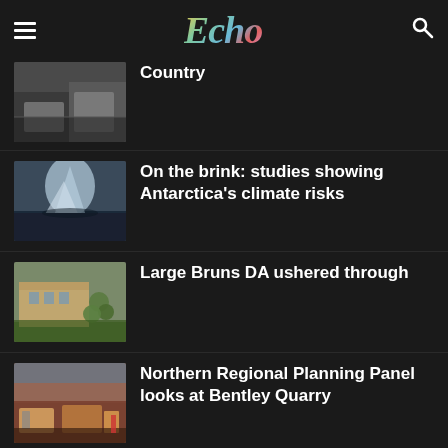Echo
Country
On the brink: studies showing Antarctica's climate risks
Large Bruns DA ushered through
Northern Regional Planning Panel looks at Bentley Quarry